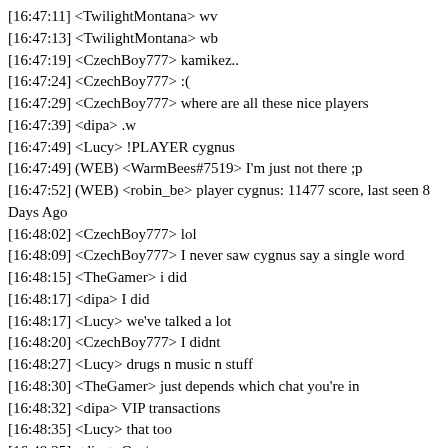[16:47:11] <TwilightMontana> wv
[16:47:13] <TwilightMontana> wb
[16:47:19] <CzechBoy777> kamikez..
[16:47:24] <CzechBoy777> :(
[16:47:29] <CzechBoy777> where are all these nice players
[16:47:39] <dipa> .w
[16:47:49] <Lucy> !PLAYER cygnus
[16:47:49] (WEB) <WarmBees#7519> I'm just not there ;p
[16:47:52] (WEB) <robin_be> player cygnus: 11477 score, last seen 8 Days Ago
[16:48:02] <CzechBoy777> lol
[16:48:09] <CzechBoy777> I never saw cygnus say a single word
[16:48:15] <TheGamer> i did
[16:48:17] <dipa> I did
[16:48:17] <Lucy> we've talked a lot
[16:48:20] <CzechBoy777> I didnt
[16:48:27] <Lucy> drugs n music n stuff
[16:48:30] <TheGamer> just depends which chat you're in
[16:48:32] <dipa> VIP transactions
[16:48:35] <Lucy> that too
[16:48:35] <dipa> On /a
[16:49:00] <CzechBoy777> !Groups cygnus
[16:49:03] (WEB) <robin_be> cygnus is in airline Inverted Airlines and company TransX
[16:50:47] --> Diamondzxd connected to the server